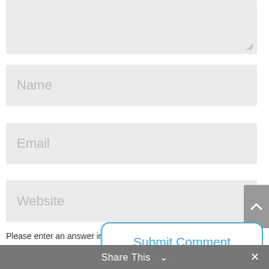[Figure (screenshot): Textarea input field with resize handle at bottom right, partially visible at top of page]
[Figure (screenshot): Name input field with placeholder text 'Name']
[Figure (screenshot): Email input field with placeholder text 'Email']
[Figure (screenshot): Website input field with placeholder text 'Website']
Please enter an answer in digits:
[Figure (screenshot): Answer input field for math CAPTCHA]
[Figure (screenshot): Submit Comment button with blue border and text]
Share This  ∨  ✕